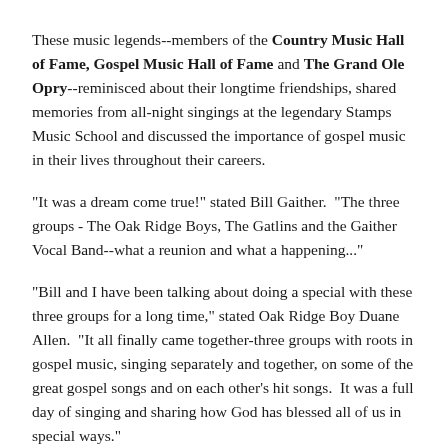These music legends--members of the Country Music Hall of Fame, Gospel Music Hall of Fame and The Grand Ole Opry--reminisced about their longtime friendships, shared memories from all-night singings at the legendary Stamps Music School and discussed the importance of gospel music in their lives throughout their careers.
"It was a dream come true!" stated Bill Gaither.  "The three groups - The Oak Ridge Boys, The Gatlins and the Gaither Vocal Band--what a reunion and what a happening..."
"Bill and I have been talking about doing a special with these three groups for a long time," stated Oak Ridge Boy Duane Allen.  "It all finally came together-three groups with roots in gospel music, singing separately and together, on some of the great gospel songs and on each other's hit songs.  It was a full day of singing and sharing how God has blessed all of us in special ways."